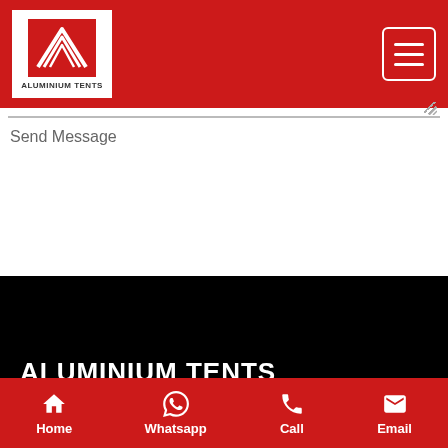ALUMINIUM TENTS
[Figure (screenshot): Message textarea input field (empty)]
Send Message
ALUMINIUM TENTS
Aluminium Tents is one of the leading marquee and tent manufacturing company in South Africa. We have a large variety
Home  Whatsapp  Call  Email